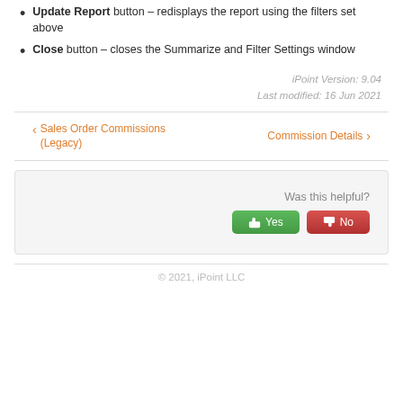Update Report button – redisplays the report using the filters set above
Close button – closes the Summarize and Filter Settings window
iPoint Version: 9.04
Last modified: 16 Jun 2021
‹ Sales Order Commissions (Legacy)    Commission Details ›
Was this helpful?
© 2021, iPoint LLC